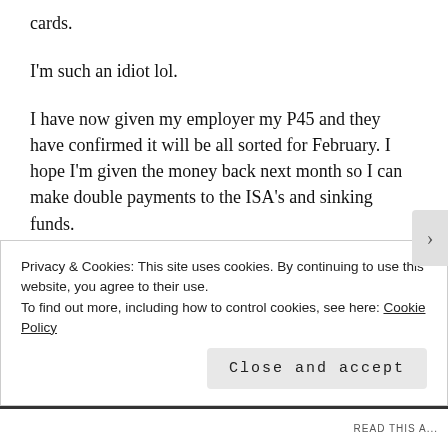cards.
I'm such an idiot lol.
I have now given my employer my P45 and they have confirmed it will be all sorted for February. I hope I'm given the money back next month so I can make double payments to the ISA's and sinking funds.
Just before I started typing this blog post tonight, I received the most wonderful news that I have been invited
Privacy & Cookies: This site uses cookies. By continuing to use this website, you agree to their use.
To find out more, including how to control cookies, see here: Cookie Policy
Close and accept
READ THIS A...